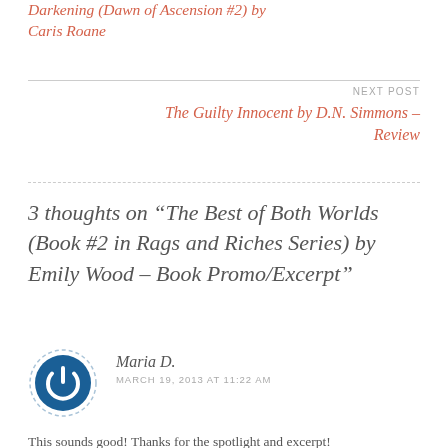Darkening (Dawn of Ascension #2) by Caris Roane
NEXT POST
The Guilty Innocent by D.N. Simmons – Review
3 thoughts on “The Best of Both Worlds (Book #2 in Rags and Riches Series) by Emily Wood – Book Promo/Excerpt”
Maria D.
MARCH 19, 2013 AT 11:22 AM
This sounds good! Thanks for the spotlight and excerpt!